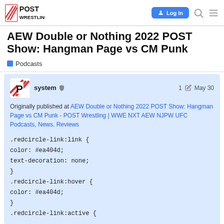POST Wrestling | Log In
AEW Double or Nothing 2022 POST Show: Hangman Page vs CM Punk
Podcasts
system   1  May 30
Originally published at AEW Double or Nothing 2022 POST Show: Hangman Page vs CM Punk - POST Wrestling | WWE NXT AEW NJPW UFC Podcasts, News, Reviews
.redcircle-link:link {
color: #ea404d;
text-decoration: none;
}
.redcircle-link:hover {
color: #ea404d;
}
.redcircle-link:active {